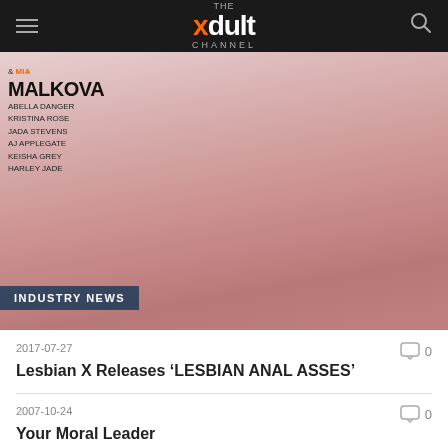THE xdult CHANNEL
[Figure (photo): Adult magazine cover featuring two women in pink lingerie, with text listing performer names: & MIA MALKOVA, ABELLA DANGER, KRISTINA ROSE, JADA STEVENS, AJ APPLEGATE, KEISHA GREY, HARLEY JADE. INDUSTRY NEWS badge overlaid at bottom left.]
2017-07-27
Lesbian X Releases ‘LESBIAN ANAL ASSES’
2007-10-24
Your Moral Leader